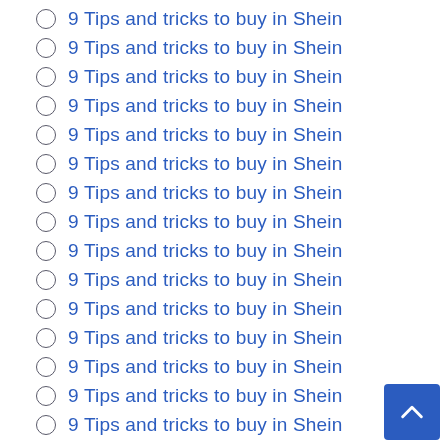9 Tips and tricks to buy in Shein
9 Tips and tricks to buy in Shein
9 Tips and tricks to buy in Shein
9 Tips and tricks to buy in Shein
9 Tips and tricks to buy in Shein
9 Tips and tricks to buy in Shein
9 Tips and tricks to buy in Shein
9 Tips and tricks to buy in Shein
9 Tips and tricks to buy in Shein
9 Tips and tricks to buy in Shein
9 Tips and tricks to buy in Shein
9 Tips and tricks to buy in Shein
9 Tips and tricks to buy in Shein
9 Tips and tricks to buy in Shein
9 Tips and tricks to buy in Shein